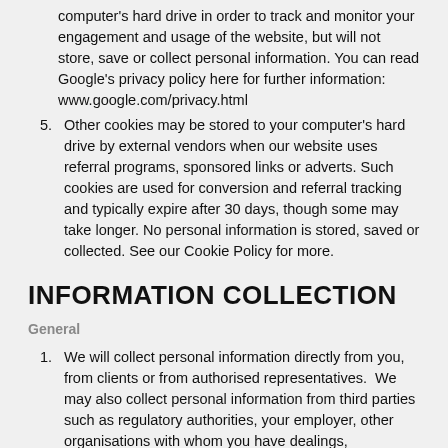computer's hard drive in order to track and monitor your engagement and usage of the website, but will not store, save or collect personal information. You can read Google's privacy policy here for further information: www.google.com/privacy.html
5. Other cookies may be stored to your computer's hard drive by external vendors when our website uses referral programs, sponsored links or adverts. Such cookies are used for conversion and referral tracking and typically expire after 30 days, though some may take longer. No personal information is stored, saved or collected. See our Cookie Policy for more.
INFORMATION COLLECTION
General
1. We will collect personal information directly from you, from clients or from authorised representatives.  We may also collect personal information from third parties such as regulatory authorities, your employer, other organisations with whom you have dealings, government